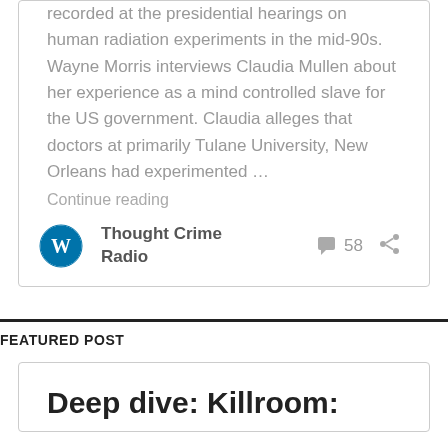recorded at the presidential hearings on human radiation experiments in the mid-90s. Wayne Morris interviews Claudia Mullen about her experience as a mind controlled slave for the US government. Claudia alleges that doctors at primarily Tulane University, New Orleans had experimented …
Continue reading
Thought Crime Radio
58
FEATURED POST
Deep dive: Killroom: